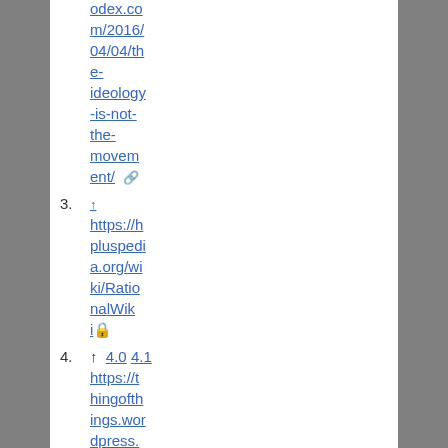odex.com/2016/04/04/the-ideology-is-not-the-movement/ [external link]
3. ↑ https://hpluspedia.org/wiki/RationalWiki [lock icon]
4. ↑ 4.0 4.1 https://thingofthings.wordpress.com/2015/05/0